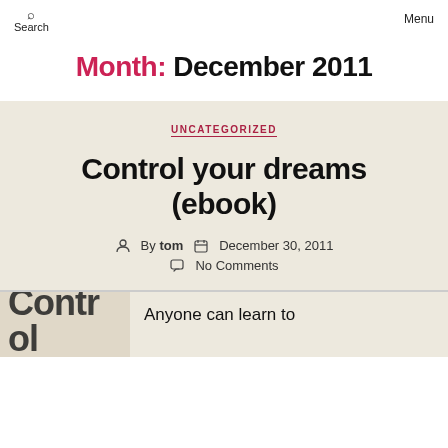Search   Menu
Month: December 2011
UNCATEGORIZED
Control your dreams (ebook)
By tom   December 30, 2011   No Comments
Anyone can learn to